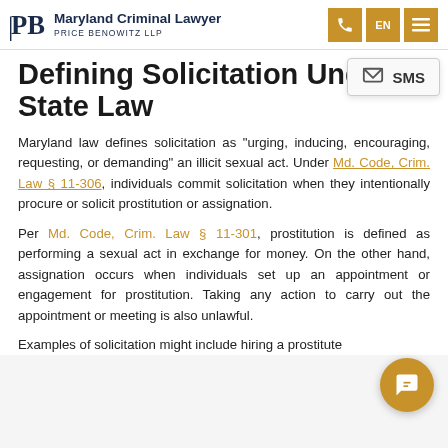Maryland Criminal Lawyer | Price Benowitz LLP
Defining Solicitation Under State Law
Maryland law defines solicitation as "urging, inducing, encouraging, requesting, or demanding" an illicit sexual act. Under Md. Code, Crim. Law § 11-306, individuals commit solicitation when they intentionally procure or solicit prostitution or assignation.
Per Md. Code, Crim. Law § 11-301, prostitution is defined as performing a sexual act in exchange for money. On the other hand, assignation occurs when individuals set up an appointment or engagement for prostitution. Taking any action to carry out the appointment or meeting is also unlawful.
Examples of solicitation might include hiring a prostitute